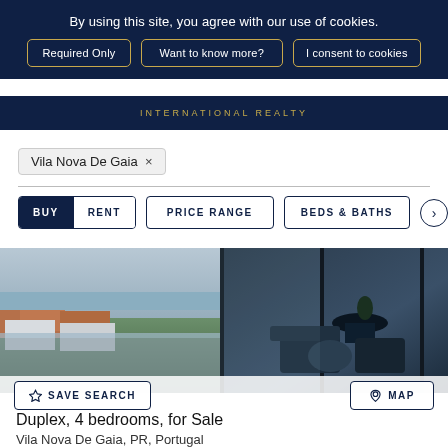By using this site, you agree with our use of cookies.
Required Only | Want to know more? | I consent to cookies
INTERNATIONAL REALTY
Vila Nova De Gaia ×
BUY  RENT  PRICE RANGE  BEDS & BATHS  >
[Figure (photo): Aerial/terrace view of coastal property in Vila Nova De Gaia, Portugal, with outdoor seating area and ocean view in background]
SAVE SEARCH
MAP
Duplex, 4 bedrooms, for Sale
Vila Nova De Gaia, PR, Portugal